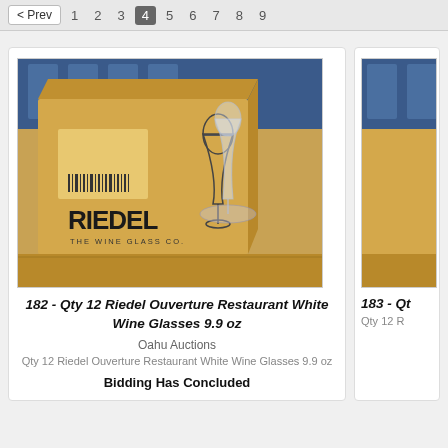< Prev  1  2  3  4  5  6  7  8  9
[Figure (photo): Photo of a Riedel brand cardboard box with a wine glass in front of it, placed on a wooden surface. The box reads RIEDEL THE WINE GLASS COMPANY.]
182 - Qty 12 Riedel Ouverture Restaurant White Wine Glasses 9.9 oz
Oahu Auctions
Qty 12 Riedel Ouverture Restaurant White Wine Glasses 9.9 oz
Bidding Has Concluded
[Figure (photo): Partially visible photo of another auction item (item 183), cropped on the right edge.]